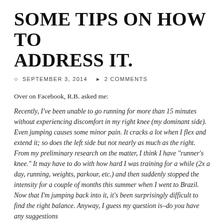SOME TIPS ON HOW TO ADDRESS IT.
SEPTEMBER 3, 2014   2 COMMENTS
Over on Facebook, R.B. asked me:
Recently, I've been unable to go running for more than 15 minutes without experiencing discomfort in my right knee (my dominant side). Even jumping causes some minor pain. It cracks a lot when I flex and extend it; so does the left side but not nearly as much as the right. From my preliminary research on the matter, I think I have "runner's knee." It may have to do with how hard I was training for a while (2x a day, running, weights, parkour, etc.) and then suddenly stopped the intensity for a couple of months this summer when I went to Brazil. Now that I'm jumping back into it, it's been surprisingly difficult to find the right balance. Anyway, I guess my question is–do you have any suggestions